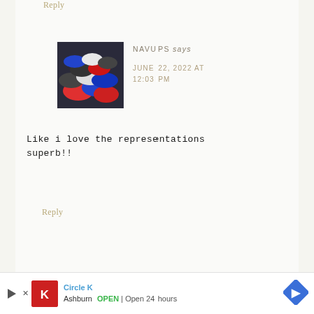Reply
[Figure (photo): Pile of colorful PlayStation controllers in blue, red, white, and black colors]
NAVUPS says
JUNE 22, 2022 AT 12:03 PM
Like i love the representations superb!!
Reply
[Figure (infographic): Advertisement bar for Circle K - Ashburn, OPEN, Open 24 hours]